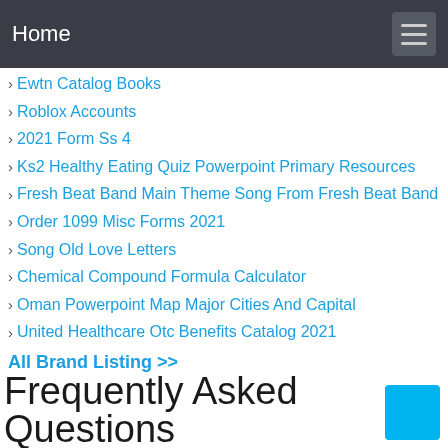Home
Ewtn Catalog Books
Roblox Accounts
2021 Form Ss 4
Ks2 Healthy Eating Quiz Powerpoint Primary Resources
Fresh Beat Band Main Theme Song From Fresh Beat Band
Order 1099 Misc Forms 2021
Song Old Love Letters
Chemical Compound Formula Calculator
Oman Powerpoint Map Major Cities And Capital
United Healthcare Otc Benefits Catalog 2021
All Brand Listing >>
Frequently Asked Questions